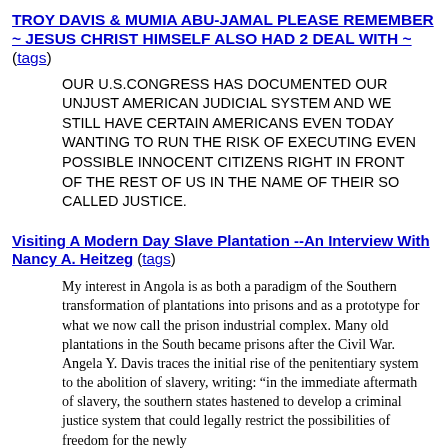TROY DAVIS & MUMIA ABU-JAMAL PLEASE REMEMBER ~ JESUS CHRIST HIMSELF ALSO HAD 2 DEAL WITH ~ (tags)
OUR U.S.CONGRESS HAS DOCUMENTED OUR UNJUST AMERICAN JUDICIAL SYSTEM AND WE STILL HAVE CERTAIN AMERICANS EVEN TODAY WANTING TO RUN THE RISK OF EXECUTING EVEN POSSIBLE INNOCENT CITIZENS RIGHT IN FRONT OF THE REST OF US IN THE NAME OF THEIR SO CALLED JUSTICE.
Visiting A Modern Day Slave Plantation --An Interview With Nancy A. Heitzeg (tags)
My interest in Angola is as both a paradigm of the Southern transformation of plantations into prisons and as a prototype for what we now call the prison industrial complex. Many old plantations in the South became prisons after the Civil War. Angela Y. Davis traces the initial rise of the penitentiary system to the abolition of slavery, writing: “in the immediate aftermath of slavery, the southern states hastened to develop a criminal justice system that could legally restrict the possibilities of freedom for the newly